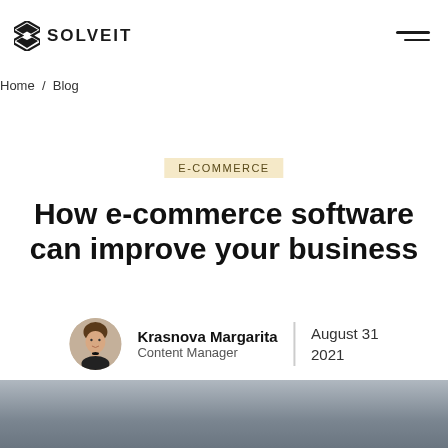SOLVEIT
Home / Blog
E-COMMERCE
How e-commerce software can improve your business
Krasnova Margarita
Content Manager
August 31 2021
[Figure (photo): Blurred gray/blue background image at the bottom of the page]